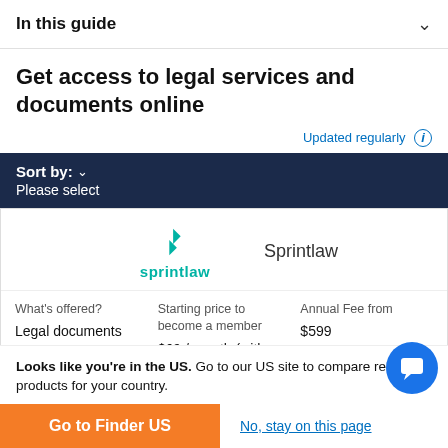In this guide
Get access to legal services and documents online
Updated regularly
| What's offered? | Starting price to become a member | Annual Fee from |
| --- | --- | --- |
| Legal documents and templates, Access to lawyers, Legal guides, Legal | $69 / month (with fixed fee services starting at $49) | $599 |
Looks like you're in the US. Go to our US site to compare relevant products for your country.
Go to Finder US
No, stay on this page